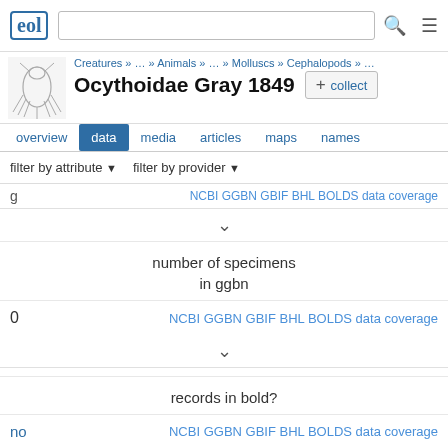eol [logo] [search box] [search icon] [menu icon]
Creatures » … » Animals » … » Molluscs » Cephalopods » …
Ocythoidae Gray 1849
+ collect
overview  data  media  articles  maps  names
filter by attribute ▼   filter by provider ▼
NCBI GGBN GBIF BHL BOLDS data coverage
∨
number of specimens
in ggbn
0   NCBI GGBN GBIF BHL BOLDS data coverage
∨
records in bold?
no   NCBI GGBN GBIF BHL BOLDS data coverage
∨